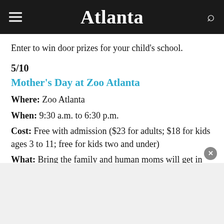Atlanta
Enter to win door prizes for your child's school.
5/10
Mother's Day at Zoo Atlanta
Where: Zoo Atlanta
When: 9:30 a.m. to 6:30 p.m.
Cost: Free with admission ($23 for adults; $18 for kids ages 3 to 11; free for kids two and under)
What: Bring the family and human moms will get in free with the purchase of an adult or child's ticket.